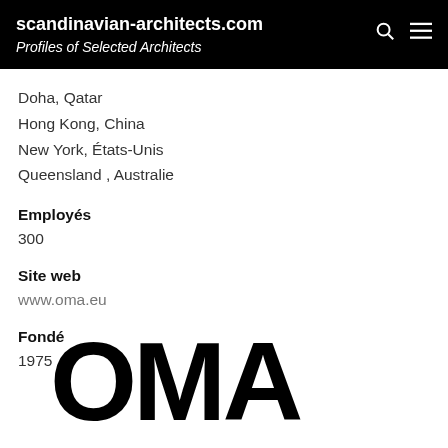scandinavian-architects.com
Profiles of Selected Architects
Doha, Qatar
Hong Kong, China
New York, États-Unis
Queensland , Australie
Employés
300
Site web
www.oma.eu
Fondé
1975
[Figure (logo): OMA logo — large bold black sans-serif text reading OMA]